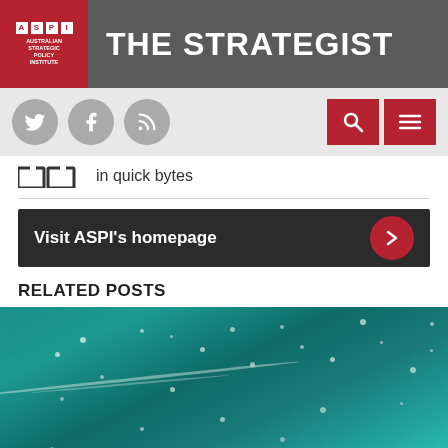THE STRATEGIST – Australian Strategic Policy Institute
in quick bytes
Visit ASPI's homepage
RELATED POSTS
[Figure (photo): Underwater photo showing teal/turquoise water with light bubbles and scattered particles]